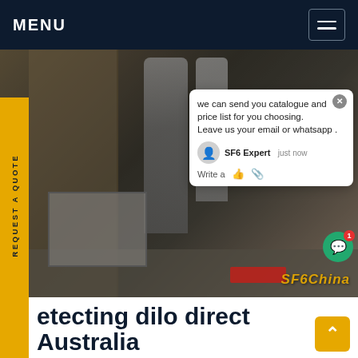MENU
[Figure (photo): Industrial worker in blue coveralls and blue hard hat working on large metal pipes and industrial equipment indoors, with tools and equipment on the floor.]
etecting dilo direct Australia
10/12/2021How to detect the Log4j vulnerability in